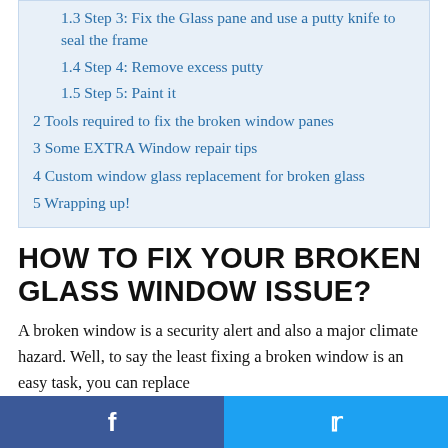1.3 Step 3: Fix the Glass pane and use a putty knife to seal the frame
1.4 Step 4: Remove excess putty
1.5 Step 5: Paint it
2 Tools required to fix the broken window panes
3 Some EXTRA Window repair tips
4 Custom window glass replacement for broken glass
5 Wrapping up!
HOW TO FIX YOUR BROKEN GLASS WINDOW ISSUE?
A broken window is a security alert and also a major climate hazard. Well, to say the least fixing a broken window is an easy task, you can replace